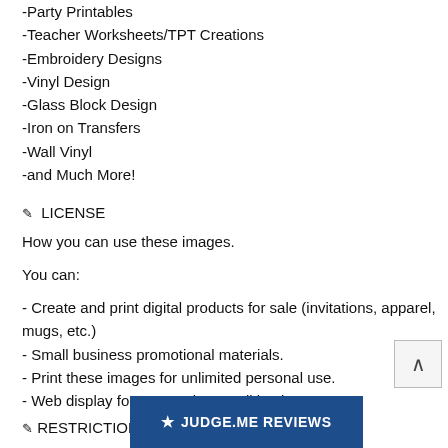-Party Printables
-Teacher Worksheets/TPT Creations
-Embroidery Designs
-Vinyl Design
-Glass Block Design
-Iron on Transfers
-Wall Vinyl
-and Much More!
✒ LICENSE
How you can use these images.
You can:
- Create and print digital products for sale (invitations, apparel, mugs, etc.)
- Small business promotional materials.
- Print these images for unlimited personal use.
- Web display for personal or small business use.
✒ RESTRICTIONS